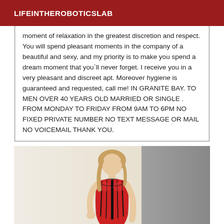LIFEINTHEROBOTICS LAB
moment of relaxation in the greatest discretion and respect. You will spend pleasant moments in the company of a beautiful and sexy, and my priority is to make you spend a dream moment that you`ll never forget. I receive you in a very pleasant and discreet apt. Moreover hygiene is guaranteed and requested, call me! IN GRANITE BAY. TO MEN OVER 40 YEARS OLD MARRIED OR SINGLE . FROM MONDAY TO FRIDAY FROM 9AM TO 6PM NO FIXED PRIVATE NUMBER NO TEXT MESSAGE OR MAIL NO VOICEMAIL THANK YOU.
[Figure (photo): Woman wearing a red corset standing in front of a white wall with a grey curtain on the right]